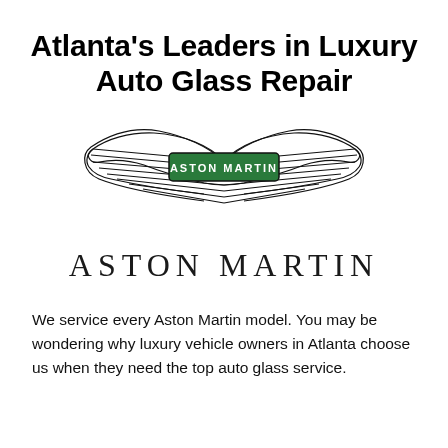Atlanta's Leaders in Luxury Auto Glass Repair
[Figure (logo): Aston Martin winged logo with green badge center reading ASTON MARTIN, followed by text ASTON MARTIN below]
We service every Aston Martin model. You may be wondering why luxury vehicle owners in Atlanta choose us when they need the top auto glass service.